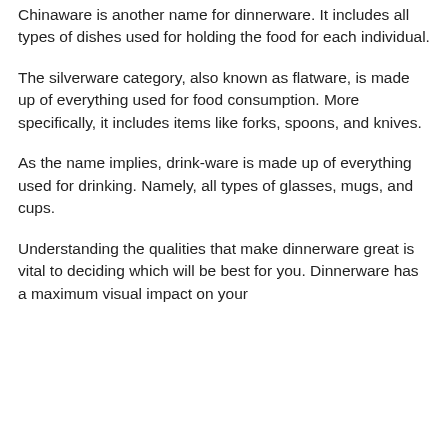Chinaware is another name for dinnerware. It includes all types of dishes used for holding the food for each individual.
The silverware category, also known as flatware, is made up of everything used for food consumption. More specifically, it includes items like forks, spoons, and knives.
As the name implies, drink-ware is made up of everything used for drinking. Namely, all types of glasses, mugs, and cups.
Understanding the qualities that make dinnerware great is vital to deciding which will be best for you. Dinnerware has a maximum visual impact on your